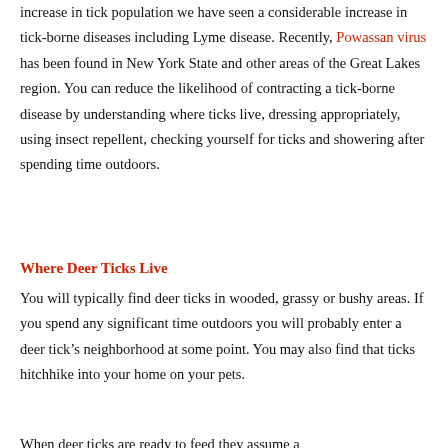increase in tick population we have seen a considerable increase in tick-borne diseases including Lyme disease. Recently, Powassan virus has been found in New York State and other areas of the Great Lakes region. You can reduce the likelihood of contracting a tick-borne disease by understanding where ticks live, dressing appropriately, using insect repellent, checking yourself for ticks and showering after spending time outdoors.
Where Deer Ticks Live
You will typically find deer ticks in wooded, grassy or bushy areas. If you spend any significant time outdoors you will probably enter a deer tick's neighborhood at some point. You may also find that ticks hitchhike into your home on your pets. When deer ticks are ready to feed they assume a